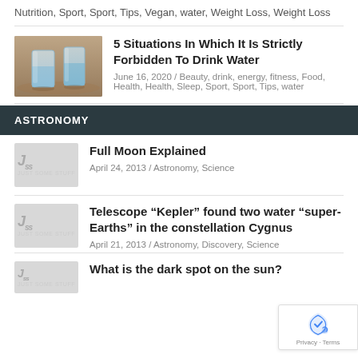Nutrition, Sport, Sport, Tips, Vegan, water, Weight Loss, Weight Loss
[Figure (photo): Two glasses of water on a wooden table]
5 Situations In Which It Is Strictly Forbidden To Drink Water
June 16, 2020 / Beauty, drink, energy, fitness, Food, Health, Health, Sleep, Sport, Sport, Tips, water
ASTRONOMY
[Figure (logo): JSS Just Some Stuff logo placeholder]
Full Moon Explained
April 24, 2013 / Astronomy, Science
[Figure (logo): JSS Just Some Stuff logo placeholder]
Telescope “Kepler” found two water “super-Earths” in the constellation Cygnus
April 21, 2013 / Astronomy, Discovery, Science
What is the dark spot on the sun?